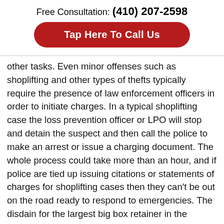Free Consultation: (410) 207-2598
Tap Here To Call Us
other tasks. Even minor offenses such as shoplifting and other types of thefts typically require the presence of law enforcement officers in order to initiate charges. In a typical shoplifting case the loss prevention officer or LPO will stop and detain the suspect and then call the police to make an arrest or issue a charging document. The whole process could take more than an hour, and if police are tied up issuing citations or statements of charges for shoplifting cases then they can't be out on the road ready to respond to emergencies. The disdain for the largest big box retainer in the country is likely rooted in an abundance of calls to service for minor offenses rather than a major crime like armed robbery.